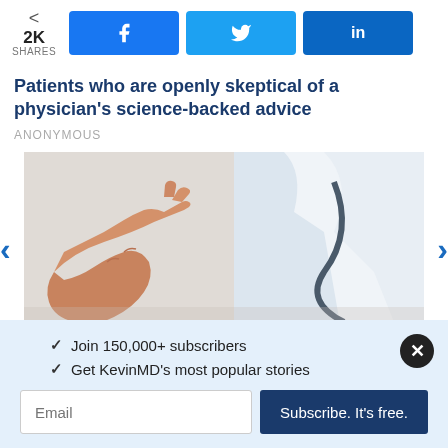2K SHARES
Patients who are openly skeptical of a physician's science-backed advice
ANONYMOUS
[Figure (photo): Close-up photo of a hand pointing with index finger toward a doctor wearing a white coat with a stethoscope]
✓  Join 150,000+ subscribers
✓  Get KevinMD's most popular stories